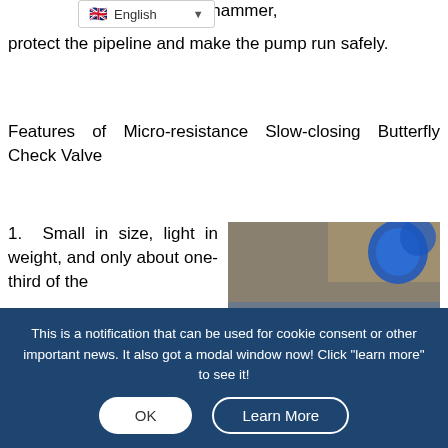English
destructive water hammer, protect the pipeline and make the pump run safely.
Features of Micro-resistance Slow-closing Butterfly Check Valve
1. Small in size, light in weight, and only about one-third of the length of
[Figure (photo): Blue flanged butterfly check valve viewed from the front, showing the internal disc mechanism with a silver metal rod/shaft, mounted on a blue circular flange with bolt holes around the perimeter.]
This is a notification that can be used for cookie consent or other important news. It also got a modal window now! Click "learn more" to see it!
OK    Learn More